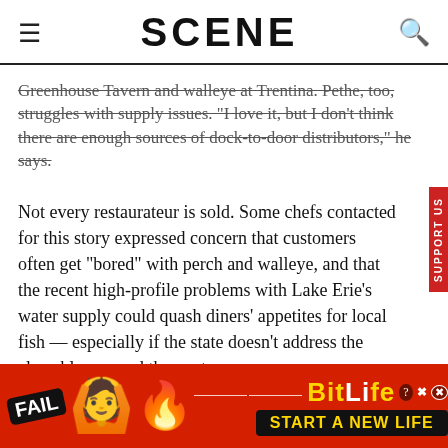SCENE
Greenhouse Tavern and walleye at Trentina. Pethe, too, struggles with supply issues. "I love it, but I don't think there are enough sources of dock-to-door distributors," he says.
Not every restaurateur is sold. Some chefs contacted for this story expressed concern that customers often get "bored" with perch and walleye, and that the recent high-profile problems with Lake Erie's water supply could quash diners' appetites for local fish — especially if the state doesn't address the algae blooms and they get worse.
There are currently about 120 million perch in Lake Erie,
[Figure (screenshot): BitLife advertisement banner with FAIL text, emoji characters, and START A NEW LIFE button]